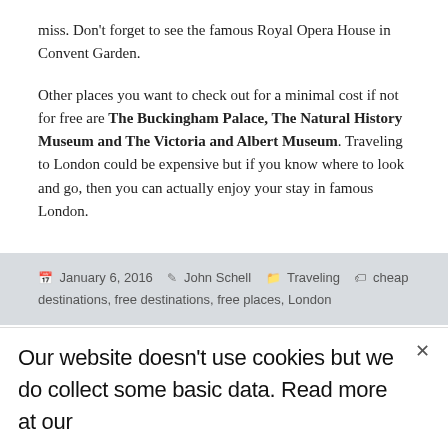miss. Don't forget to see the famous Royal Opera House in Convent Garden.
Other places you want to check out for a minimal cost if not for free are The Buckingham Palace, The Natural History Museum and The Victoria and Albert Museum. Traveling to London could be expensive but if you know where to look and go, then you can actually enjoy your stay in famous London.
January 6, 2016  John Schell  Traveling  cheap destinations, free destinations, free places, London
Our website doesn't use cookies but we do collect some basic data. Read more at our